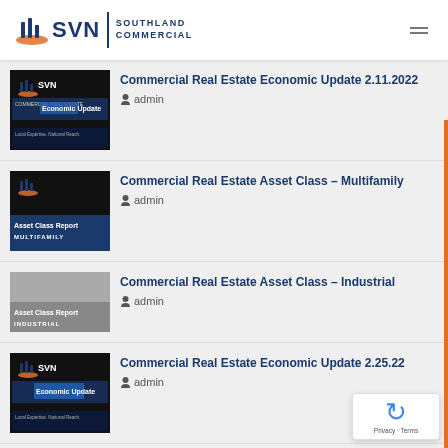SVN SOUTHLAND COMMERCIAL
Commercial Real Estate Economic Update 2.11.2022 admin
Commercial Real Estate Asset Class – Multifamily admin
Commercial Real Estate Asset Class – Industrial admin
Commercial Real Estate Economic Update 2.25.22 admin
Commercial Real Estate Economic Update